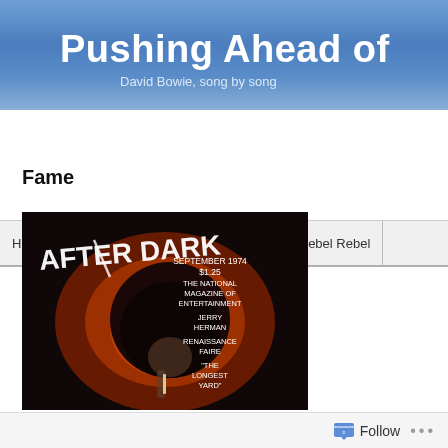Pushing Ahead of the Dame – David Bowie, song by song
Home | Ashes to Ashes (A Book) | About | Rebel Rebel
Fame
[Figure (photo): Magazine cover of After Dark, September 1974, $1.25. Text reads: THE NATIONAL MAGAZINE OF ENTERTAINMENT, JERRY HERMAN, RENAISSANCE FAIRE, "THE LONGEST YARD". Shows a figure with an afro hairstyle with orange/red lighting against a dark background.]
Follow ...